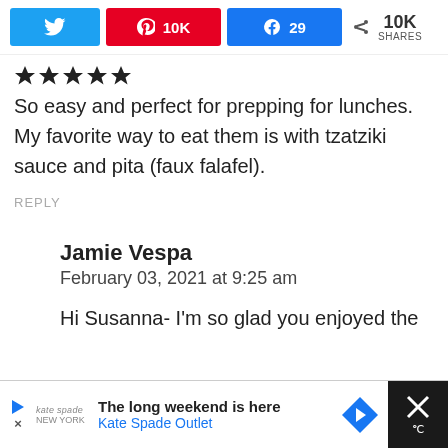[Figure (screenshot): Social share bar with Twitter (blue), Pinterest (red, 10K), Facebook (blue, 29), and share count of 10K SHARES]
[Figure (other): Five black star rating symbols]
So easy and perfect for prepping for lunches. My favorite way to eat them is with tzatziki sauce and pita (faux falafel).
REPLY
Jamie Vespa
February 03, 2021 at 9:25 am
Hi Susanna- I'm so glad you enjoyed the
[Figure (screenshot): Advertisement banner: Kate Spade Outlet - The long weekend is here, with play button, logo, arrow icon, and close X button]